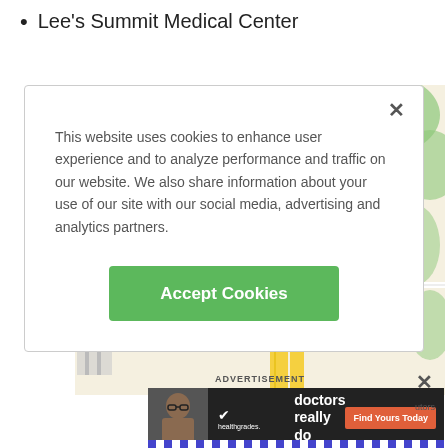Lee's Summit Medical Center
[Figure (map): Street map showing location marker labeled '1' near Strother Road and Northeast area, with yellow highlighted road corridors and green areas]
ADVERTISEMENT
[Figure (infographic): Healthgrades advertisement banner: '5-star doctors really do exist.' with Find Yours Today button, showing woman with glasses]
This website uses cookies to enhance user experience and to analyze performance and traffic on our website. We also share information about your use of our site with our social media, advertising and analytics partners.
[Figure (other): Accept Cookies button (green)]